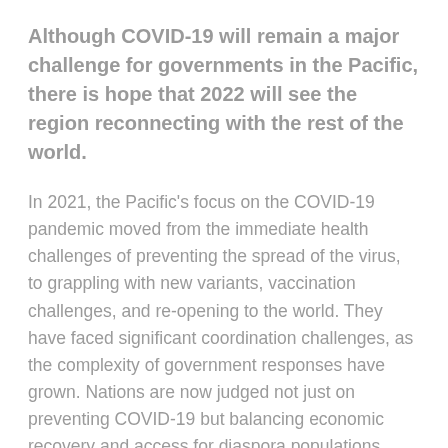Although COVID-19 will remain a major challenge for governments in the Pacific, there is hope that 2022 will see the region reconnecting with the rest of the world.
In 2021, the Pacific's focus on the COVID-19 pandemic moved from the immediate health challenges of preventing the spread of the virus, to grappling with new variants, vaccination challenges, and re-opening to the world. They have faced significant coordination challenges, as the complexity of government responses have grown. Nations are now judged not just on preventing COVID-19 but balancing economic recovery and access for diaspora populations.